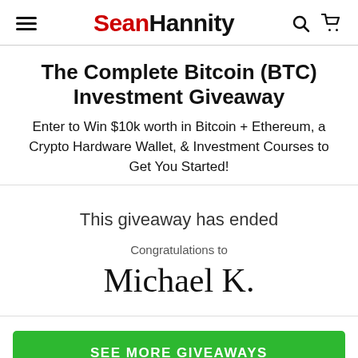Sean Hannity
The Complete Bitcoin (BTC) Investment Giveaway
Enter to Win $10k worth in Bitcoin + Ethereum, a Crypto Hardware Wallet, & Investment Courses to Get You Started!
This giveaway has ended
Congratulations to
Michael K.
SEE MORE GIVEAWAYS